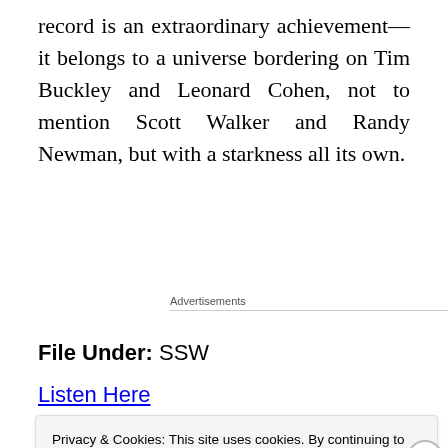record is an extraordinary achievement—it belongs to a universe bordering on Tim Buckley and Leonard Cohen, not to mention Scott Walker and Randy Newman, but with a starkness all its own.
Advertisements
File Under: SSW
Listen Here
Privacy & Cookies: This site uses cookies. By continuing to use this website, you agree to their use.
To find out more, including how to control cookies, see here: Cookie Policy